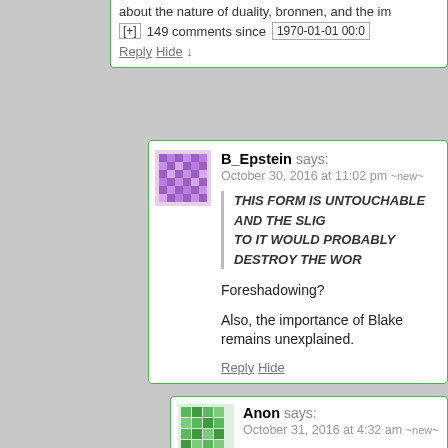about the nature of duality, bronnen, and the im
[+]  149 comments since    1970-01-01 00:0
Reply Hide ↓
B_Epstein says: October 30, 2016 at 11:02 pm ~new~
THIS FORM IS UNTOUCHABLE AND THE SLIG... TO IT WOULD PROBABLY DESTROY THE WOR...
Foreshadowing?
Also, the importance of Blake remains unexplained.
Reply Hide
Anon says: October 31, 2016 at 4:32 am ~new~
I feel like it was well explained when Armstrong s... right about everything."